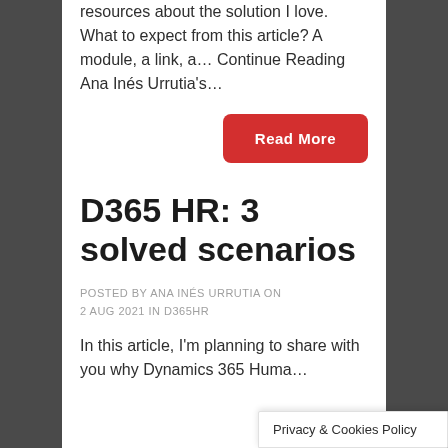resources about the solution I love. What to expect from this article? A module, a link, a… Continue Reading Ana Inés Urrutia's…
Read More
D365 HR: 3 solved scenarios
POSTED BY ANA INÉS URRUTIA ON 2 AUG 2021 IN D365HR
In this article, I'm planning to share with you why Dynamics 365 Huma…
Privacy & Cookies Policy